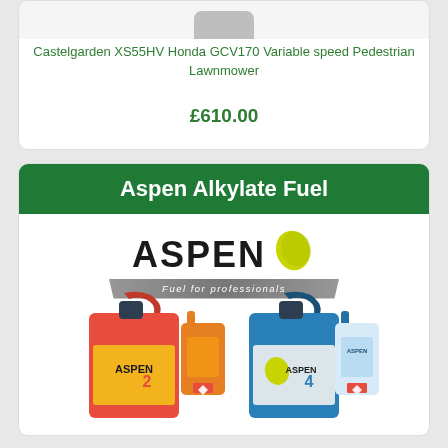[Figure (photo): Partial view of Castelgarden XS55HV lawnmower at top of card]
Castelgarden XS55HV Honda GCV170 Variable speed Pedestrian Lawnmower
£610.00
Aspen Alkylate Fuel
[Figure (logo): Aspen Fuel for professionals logo with green leaf icon and grey tagline bar]
[Figure (photo): Aspen 2 (red) and Aspen 4 (blue) fuel containers in 5L and 1L sizes]